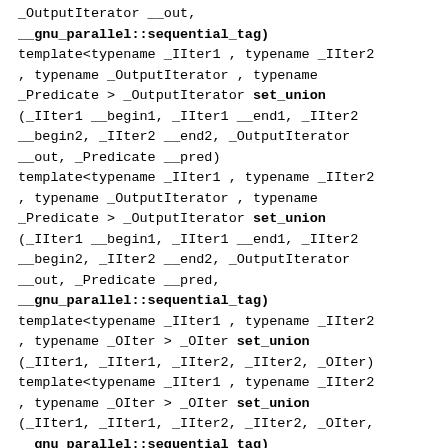_OutputIterator __out,
__gnu_parallel::sequential_tag)
template<typename _IIter1 , typename _IIter2
, typename _OutputIterator , typename
_Predicate > _OutputIterator set_union
(_IIter1 __begin1, _IIter1 __end1, _IIter2
__begin2, _IIter2 __end2, _OutputIterator
__out, _Predicate __pred)
template<typename _IIter1 , typename _IIter2
, typename _OutputIterator , typename
_Predicate > _OutputIterator set_union
(_IIter1 __begin1, _IIter1 __end1, _IIter2
__begin2, _IIter2 __end2, _OutputIterator
__out, _Predicate __pred,
__gnu_parallel::sequential_tag)
template<typename _IIter1 , typename _IIter2
, typename _OIter > _OIter set_union
(_IIter1, _IIter1, _IIter2, _IIter2, _OIter)
template<typename _IIter1 , typename _IIter2
, typename _OIter > _OIter set_union
(_IIter1, _IIter1, _IIter2, _IIter2, _OIter,
__gnu_parallel::sequential_tag)
template<typename _IIter1 , typename _IIter2